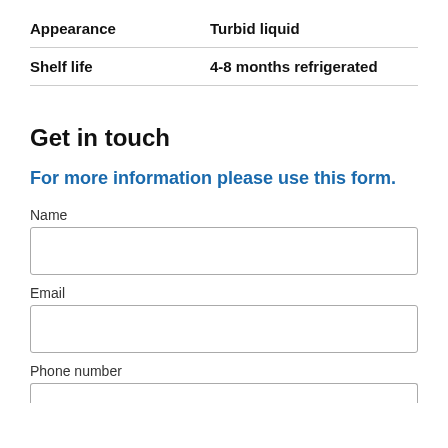| Property | Value |
| --- | --- |
| Appearance | Turbid liquid |
| Shelf life | 4-8 months refrigerated |
Get in touch
For more information please use this form.
Name
Email
Phone number